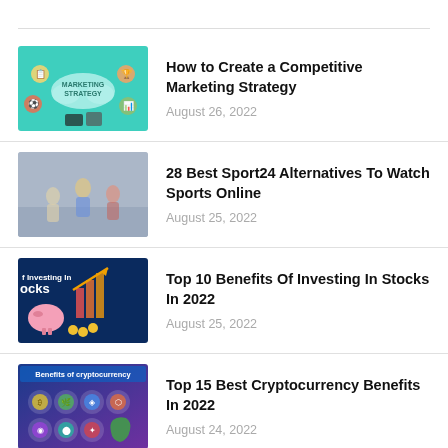[Figure (illustration): Thumbnail image of a marketing strategy infographic with teal/green background showing 'Marketing Strategy' text in a cloud shape with various business icons]
How to Create a Competitive Marketing Strategy
August 26, 2022
[Figure (photo): Thumbnail photo of sports players/athletes in action, blurred/faded]
28 Best Sport24 Alternatives To Watch Sports Online
August 25, 2022
[Figure (illustration): Thumbnail image showing 'Benefits of Investing in Stocks' text on dark blue background with piggy bank and gold coins]
Top 10 Benefits Of Investing In Stocks In 2022
August 25, 2022
[Figure (illustration): Thumbnail image showing 'Benefits of cryptocurrency' text on blue/purple background with cryptocurrency icons]
Top 15 Best Cryptocurrency Benefits In 2022
August 24, 2022